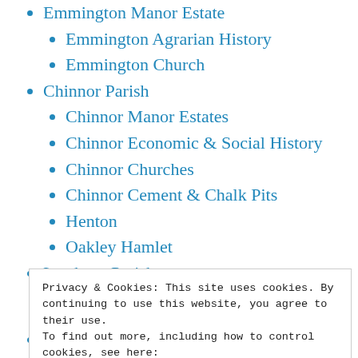Emmington Manor Estate
Emmington Agrarian History
Emmington Church
Chinnor Parish
Chinnor Manor Estates
Chinnor Economic & Social History
Chinnor Churches
Chinnor Cement & Chalk Pits
Henton
Oakley Hamlet
Lewknor Parish
Privacy & Cookies: This site uses cookies. By continuing to use this website, you agree to their use.
To find out more, including how to control cookies, see here:
Cookie Policy
Close and accept
Chalford & Consourt